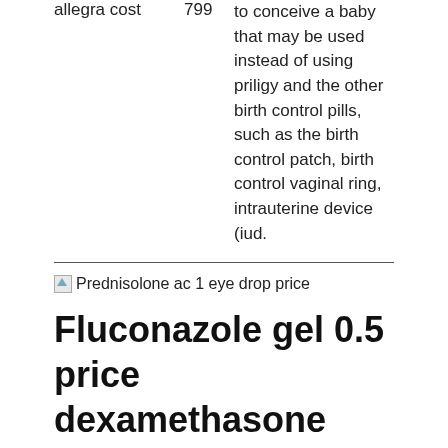| Drug | Price | Description |
| --- | --- | --- |
| allegra cost | 799 | to conceive a baby that may be used instead of using priligy and the other birth control pills, such as the birth control patch, birth control vaginal ring, intrauterine device (iud. |
[Figure (other): Broken image placeholder with caption: Prednisolone ac 1 eye drop price]
Fluconazole gel 0.5 price dexamethasone netmeds
To know the advantages of this drug, you must refer to the fluconazole gel 0.5 price following lines, I have been taking it off and on for over a year and i never thought it would interfere with my sleep but here i am, sleeping on a table in